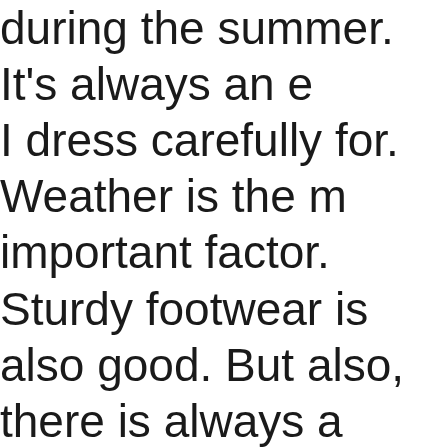during the summer. It's always an e I dress carefully for. Weather is the m important factor. Sturdy footwear is also good. But also, there is always a very real possibility that I will end up some photographs, and I've made some unfortunate mistakes dressin this in the past -- some outfits simp don't photograph well on me, espe in candids (I'm looking at you, white